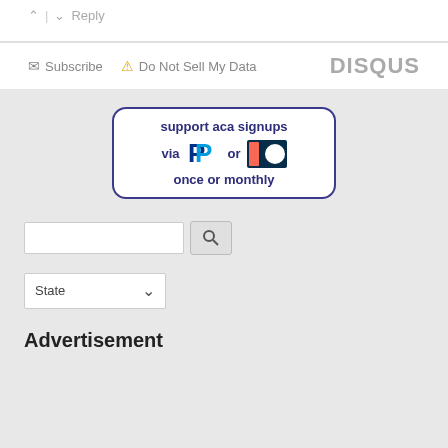↑ | ↓ Reply
✉ Subscribe  ⚠ Do Not Sell My Data  DISQUS
[Figure (infographic): Support ACA signups banner with PayPal and Patreon logos, text: 'support aca signups via [PayPal logo] or [Patreon logo] once or monthly']
Search input field with search button
State dropdown
Advertisement